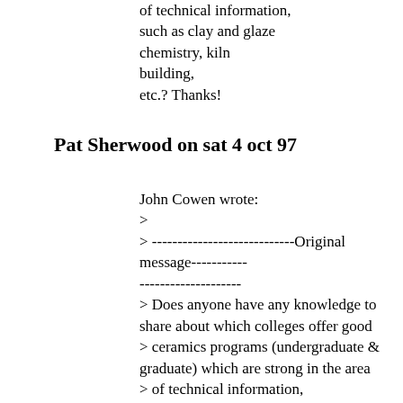of technical information, such as clay and glaze chemistry, kiln building, etc.? Thanks!
Pat Sherwood on sat 4 oct 97
John Cowen wrote:
>
> ----------------------------Original message-------------------------------
> Does anyone have any knowledge to share about which colleges offer good
> ceramics programs (undergraduate & graduate) which are strong in the area
> of technical information, such as clay and glaze chemistry, kiln building,